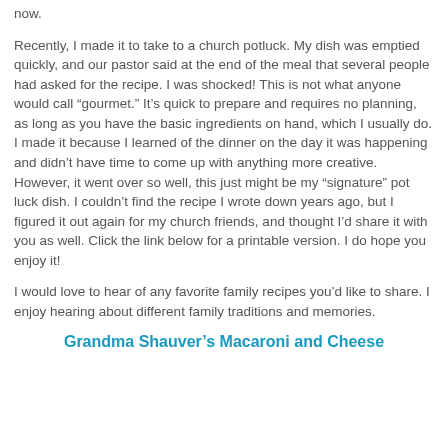now.
Recently, I made it to take to a church potluck. My dish was emptied quickly, and our pastor said at the end of the meal that several people had asked for the recipe. I was shocked! This is not what anyone would call "gourmet." It's quick to prepare and requires no planning, as long as you have the basic ingredients on hand, which I usually do. I made it because I learned of the dinner on the day it was happening and didn't have time to come up with anything more creative. However, it went over so well, this just might be my "signature" pot luck dish. I couldn't find the recipe I wrote down years ago, but I figured it out again for my church friends, and thought I'd share it with you as well. Click the link below for a printable version. I do hope you enjoy it!
I would love to hear of any favorite family recipes you'd like to share. I enjoy hearing about different family traditions and memories.
Grandma Shauver's Macaroni and Cheese